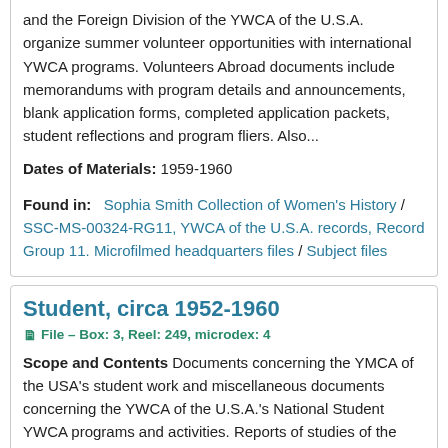and the Foreign Division of the YWCA of the U.S.A. organize summer volunteer opportunities with international YWCA programs. Volunteers Abroad documents include memorandums with program details and announcements, blank application forms, completed application packets, student reflections and program fliers. Also...
Dates of Materials: 1959-1960
Found in:   Sophia Smith Collection of Women's History / SSC-MS-00324-RG11, YWCA of the U.S.A. records, Record Group 11. Microfilmed headquarters files / Subject files
Student, circa 1952-1960
File – Box: 3, Reel: 249, microdex: 4
Scope and Contents Documents concerning the YMCA of the USA's student work and miscellaneous documents concerning the YWCA of the U.S.A.'s National Student YWCA programs and activities. Reports of studies of the program and activities of the National Student YMCA summarize the current scope